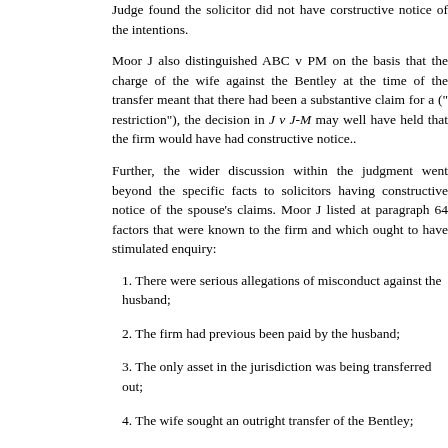Judge found the solicitor did not have constructive notice of the intentions.
Moor J also distinguished ABC v PM on the basis that the charge of the wife against the Bentley at the time of the transfer meant that there had been a substantive claim for a restriction (not merely a "restriction"), the decision in J v J-M may well have held that the firm would have had constructive notice..
Further, the wider discussion within the judgment went beyond the specific facts to solicitors having constructive notice of a number of factors relating to a spouse's claims. Moor J listed at paragraph 64 factors that were known to the firm and which ought to have stimulated enquiry:
1. There were serious allegations of misconduct against the husband;
2. The firm had previous been paid by the husband;
3. The only asset in the jurisdiction was being transferred out;
4. The wife sought an outright transfer of the Bentley;
5. The final hearing had already commenced;
6. The wife had registered a restriction on the property.
A wider basis for having constructive notice. Did Moor J go beyond simply stating that the fact that the wife had registered a charge to the wife imputed the constructive notice?